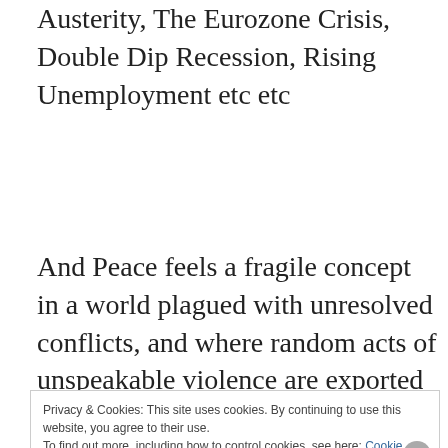Austerity, The Eurozone Crisis, Double Dip Recession, Rising Unemployment etc etc
And Peace feels a fragile concept in a world plagued with unresolved conflicts, and where random acts of unspeakable violence are exported and perpetrated on the innocent.
Privacy & Cookies: This site uses cookies. By continuing to use this website, you agree to their use.
To find out more, including how to control cookies, see here: Cookie Policy